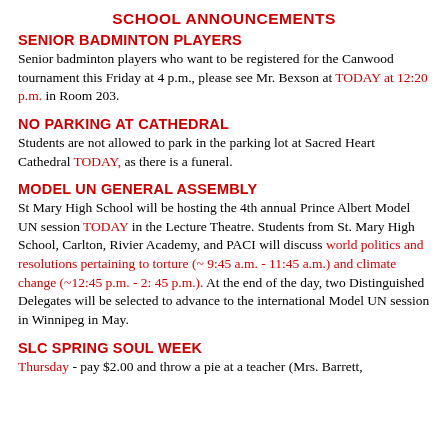SCHOOL ANNOUNCEMENTS
SENIOR BADMINTON PLAYERS
Senior badminton players who want to be registered for the Canwood tournament this Friday at 4 p.m., please see Mr. Bexson at TODAY at 12:20 p.m. in Room 203.
NO PARKING AT CATHEDRAL
Students are not allowed to park in the parking lot at Sacred Heart Cathedral TODAY, as there is a funeral.
MODEL UN GENERAL ASSEMBLY
St Mary High School will be hosting the 4th annual Prince Albert Model UN session TODAY in the Lecture Theatre. Students from St. Mary High School, Carlton, Rivier Academy, and PACI will discuss world politics and resolutions pertaining to torture (~ 9:45 a.m. - 11:45 a.m.) and climate change (~12:45 p.m. - 2: 45 p.m.). At the end of the day, two Distinguished Delegates will be selected to advance to the international Model UN session in Winnipeg in May.
SLC SPRING SOUL WEEK
Thursday - pay $2.00 and throw a pie at a teacher (Mrs. Barrett,